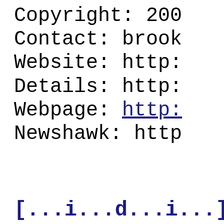Copyright: 200...
Contact: brook...
Website: http:...
Details: http:...
Webpage: http:... (hyperlink)
Newshawk: http...
[...i...d...i...]